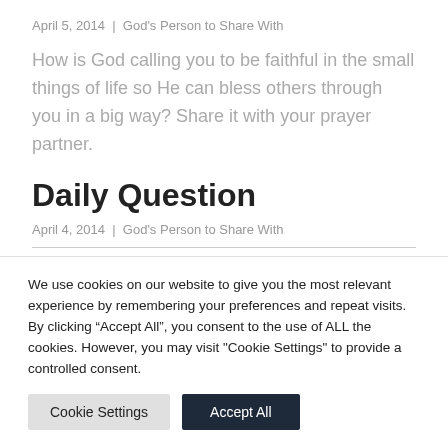April 5, 2014  |  God's Person to Share With
How is God calling you to be faithful in the small things of life so He can bless others through you in a big way? Share it with your prayer partner.
Daily Question
April 4, 2014  |  God's Person to Share With
We use cookies on our website to give you the most relevant experience by remembering your preferences and repeat visits. By clicking “Accept All”, you consent to the use of ALL the cookies. However, you may visit "Cookie Settings" to provide a controlled consent.